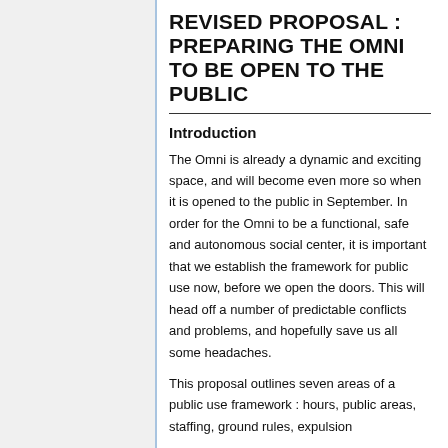REVISED PROPOSAL : PREPARING THE OMNI TO BE OPEN TO THE PUBLIC
Introduction
The Omni is already a dynamic and exciting space, and will become even more so when it is opened to the public in September. In order for the Omni to be a functional, safe and autonomous social center, it is important that we establish the framework for public use now, before we open the doors. This will head off a number of predictable conflicts and problems, and hopefully save us all some headaches.
This proposal outlines seven areas of a public use framework : hours, public areas, staffing, ground rules, expulsion